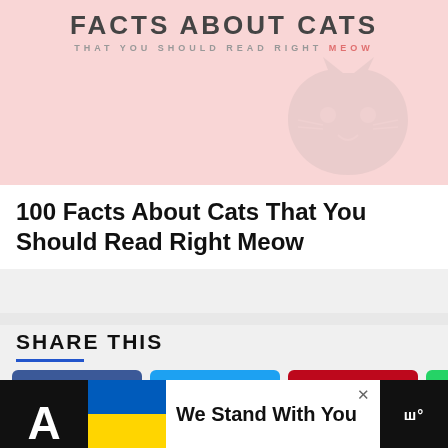[Figure (illustration): Pink background infographic header with title 'FACTS ABOUT CATS THAT YOU SHOULD READ RIGHT MEOW' and a faint cat silhouette]
100 Facts About Cats That You Should Read Right Meow
SHARE THIS
[Figure (infographic): Row of social share buttons: Facebook (blue), Twitter (light blue), Pinterest (red), WhatsApp (green), Reddit (orange), with floating heart and share icons]
We Stand With You